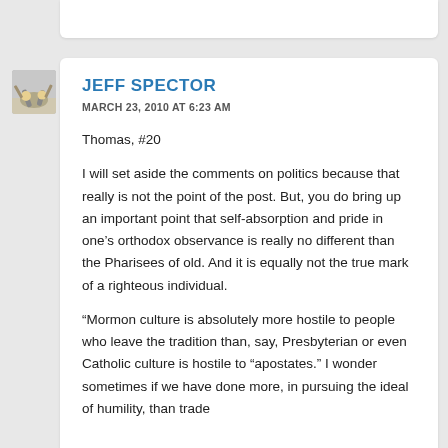JEFF SPECTOR
MARCH 23, 2010 AT 6:23 AM
Thomas, #20
I will set aside the comments on politics because that really is not the point of the post. But, you do bring up an important point that self-absorption and pride in one’s orthodox observance is really no different than the Pharisees of old. And it is equally not the true mark of a righteous individual.
“Mormon culture is absolutely more hostile to people who leave the tradition than, say, Presbyterian or even Catholic culture is hostile to “apostates.” I wonder sometimes if we have done more, in pursuing the ideal of humility, than trade